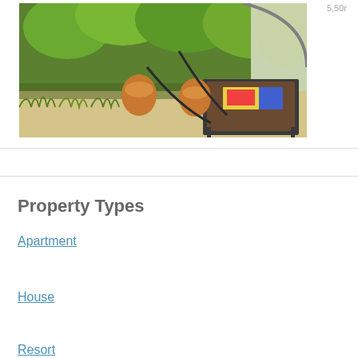[Figure (photo): Outdoor garden/patio area with lush green bushes and trees, ceramic pots, and a metal-framed table with books/items on it under a canopy structure]
5,50r
Property Types
Apartment
House
Resort